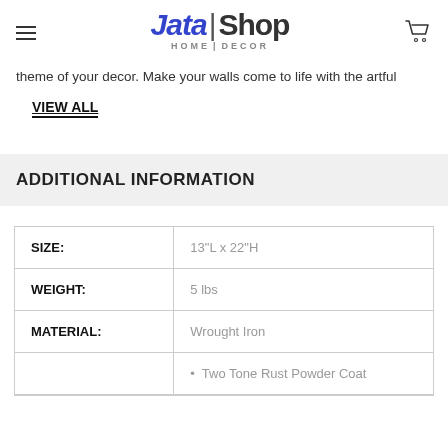Jata | Shop HOME | DECOR
theme of your decor. Make your walls come to life with the artful
VIEW ALL
ADDITIONAL INFORMATION
| Attribute | Value |
| --- | --- |
| SIZE: | 13"L x 22"H |
| WEIGHT: | 5 lbs |
| MATERIAL: | Wrought Iron |
|  | • Two Tone Rust Powder Coat |